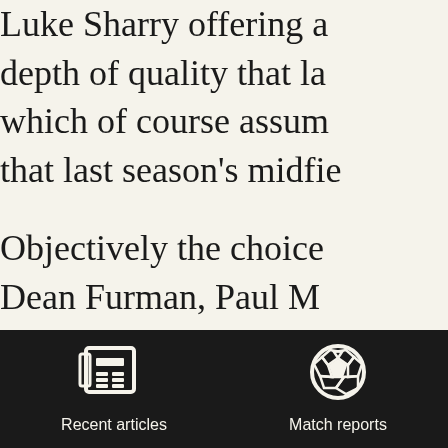Luke Sharry offering a depth of quality that la which of course assum that last season's midfie
Objectively the choice Dean Furman, Paul M is incredibility strong b say that team with a st promoted and obvious McCall has to make ch team on from that and
[Figure (infographic): Dark navigation bar with two icons: a newspaper icon labeled 'Recent articles' and a soccer ball icon labeled 'Match reports']